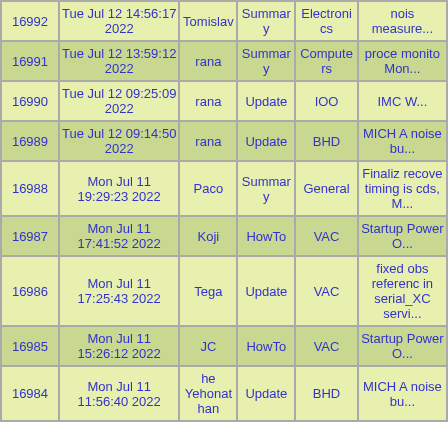| ID | Date | User | Type | Category | Title |
| --- | --- | --- | --- | --- | --- |
| 16992 | Tue Jul 12 14:56:17 2022 | Tomislav | Summary | Electronics | nois measure... |
| 16991 | Tue Jul 12 13:59:12 2022 | rana | Summary | Computers | proce monito Mon... |
| 16990 | Tue Jul 12 09:25:09 2022 | rana | Update | IOO | IMC W... |
| 16989 | Tue Jul 12 09:14:50 2022 | rana | Update | BHD | MICH A noise bu... |
| 16988 | Mon Jul 11 19:29:23 2022 | Paco | Summary | General | Finaliz recove timing is cds, M... |
| 16987 | Mon Jul 11 17:41:52 2022 | Koji | HowTo | VAC | Startup Power O... |
| 16986 | Mon Jul 11 17:25:43 2022 | Tega | Update | VAC | fixed obs referenc in serial_XC servi... |
| 16985 | Mon Jul 11 15:26:12 2022 | JC | HowTo | VAC | Startup Power O... |
| 16984 | Mon Jul 11 11:56:40 2022 | he Yehonathan | Update | BHD | MICH A noise bu... |